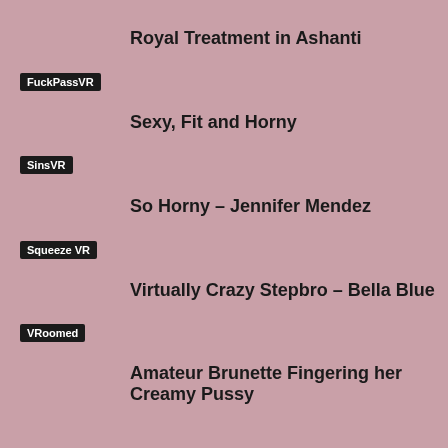Royal Treatment in Ashanti
FuckPassVR
Sexy, Fit and Horny
SinsVR
So Horny – Jennifer Mendez
Squeeze VR
Virtually Crazy Stepbro – Bella Blue
VRoomed
Amateur Brunette Fingering her Creamy Pussy